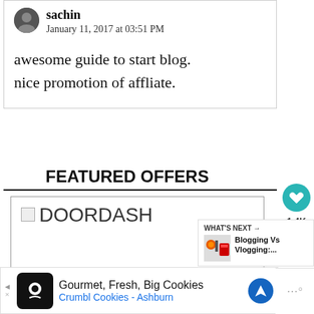sachin
January 11, 2017 at 03:51 PM
awesome guide to start blog.
nice promotion of affliate.
FEATURED OFFERS
[Figure (other): DOORDASH image placeholder with broken image icon]
[Figure (other): What's Next sidebar with Blogging Vs Vlogging link and social share buttons]
[Figure (other): Advertisement bar: Gourmet, Fresh, Big Cookies - Crumbl Cookies - Ashburn]